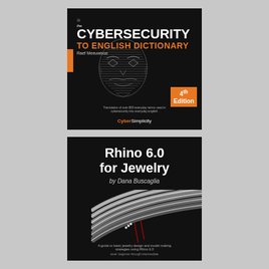[Figure (illustration): Book cover: 'The Cybersecurity to English Dictionary' by Raef Meeuwisse, 4th Edition, published by CyberSimplicity. Black cover with white line-art Guy Fawkes mask, white and orange title text, orange accent bar on left, and orange '4th Edition' badge.]
[Figure (illustration): Book cover: 'Rhino 6.0 for Jewelry' by Dana Buscaglia. Black cover with white title text, 3D rendered layered ring/jewelry shape in grey/silver tones. Subtitle: 'A guide to basic jewelry design and model making strategies using Rhino 6.0'. Level: beginner through intermediate.]